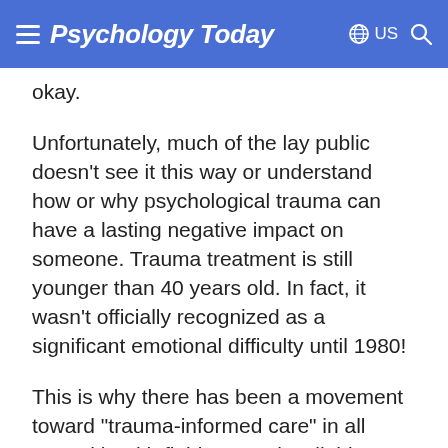Psychology Today — US
okay.
Unfortunately, much of the lay public doesn't see it this way or understand how or why psychological trauma can have a lasting negative impact on someone. Trauma treatment is still younger than 40 years old. In fact, it wasn't officially recognized as a significant emotional difficulty until 1980!
This is why there has been a movement toward "trauma-informed care" in all mental health fields recently. All this means is a sensitivity and awareness of how what happened to someone in the past affects them in the present. The ground-breaking ACE (Adverse Child Experiences) study...